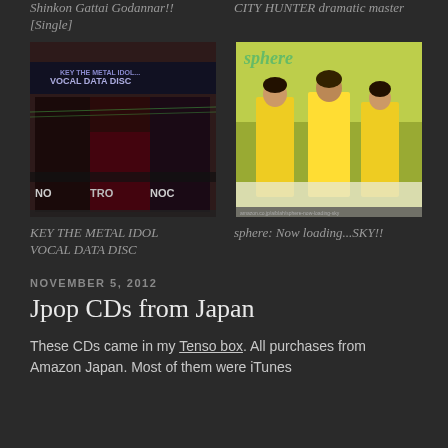Shinkon Gattai Godannar!! [Single]
CITY HUNTER dramatic master
[Figure (photo): Album cover photo of KEY THE METAL IDOL VOCAL DATA DISC - shows stacked CD/disc cases with dark anime artwork]
[Figure (photo): Album cover photo of sphere: Now loading...SKY!! - shows three women in yellow outfits on a green background]
KEY THE METAL IDOL VOCAL DATA DISC
sphere: Now loading...SKY!!
NOVEMBER 5, 2012
Jpop CDs from Japan
These CDs came in my Tenso box. All purchases from Amazon Japan. Most of them were iTunes